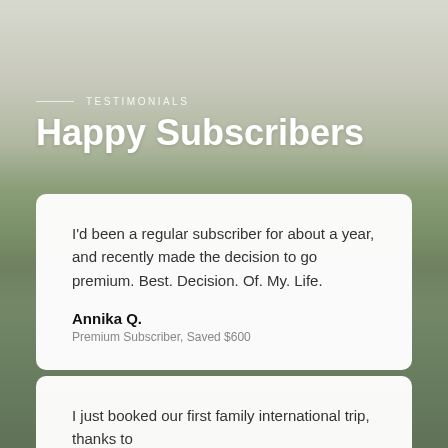TESTIMONIALS
Happy Subscribers
I'd been a regular subscriber for about a year, and recently made the decision to go premium. Best. Decision. Of. My. Life.
Annika Q.
Premium Subscriber, Saved $600
I just booked our first family international trip, thanks to